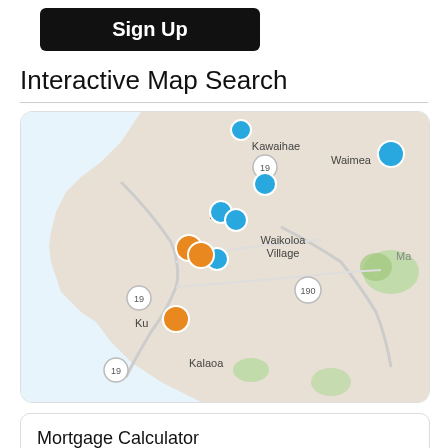[Figure (screenshot): Sign Up button, black rounded rectangle with white bold text]
Interactive Map Search
[Figure (map): Interactive map of the Big Island of Hawaii (Kohala Coast area) showing location pins. Blue pins near Kawaihae, Puako, Waikoloa Village, Waimea. Orange pins near Waikoloa/Puako coast and Kua. Labels include: Kawaihae, Waimea, Puako, Waikoloa Village, Kalaoa, Ku[a], Ma[malahoa]. Route markers: 19, 190.]
Mortgage Calculator